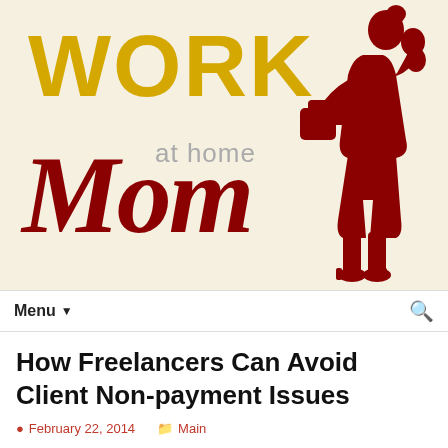[Figure (logo): Work at Home Mom logo: large yellow WORK text, dark red cursive Mom script, 'at home' in gray, red silhouette of a woman carrying a child and bag]
Menu ▾  🔍
How Freelancers Can Avoid Client Non-payment Issues
February 22, 2014   Main
Freelancers of all types know that the only way to keep